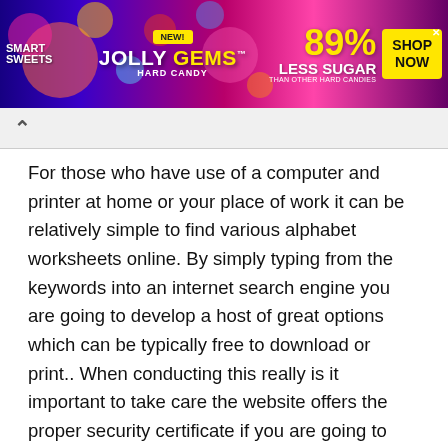[Figure (photo): Smart Sweets Jolly Gems advertisement banner. Yellow text '89% LESS SUGAR THAN OTHER HARD CANDIES' on colorful background. Shop Now button. NEW badge visible.]
For those who have use of a computer and printer at home or your place of work it can be relatively simple to find various alphabet worksheets online. By simply typing from the keywords into an internet search engine you are going to develop a host of great options which can be typically free to download or print.. When conducting this really is it important to take care the website offers the proper security certificate if you are going to download them, yet it is typically safe to easily print them.
You can also get quite a number of books that happen to be filled with these sorts of worksheets online. The most famous retailers get them on the market plus they are usually relatively cheap. The only real downside to this is basically that you won't have the capacity to see exactly what you really are getting before making your purchase in a number of cases. Should you be considering this alternative you may want to select a site that